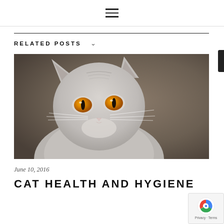≡ (hamburger menu icon)
RELATED POSTS ∨
[Figure (photo): Close-up portrait of a gray British Shorthair cat with striking amber/orange eyes against a blurred brown background]
June 10, 2016
CAT HEALTH AND HYGIENE